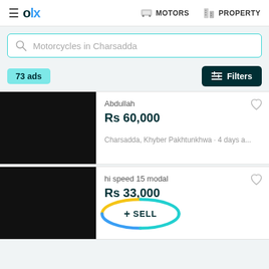≡ olx  MOTORS  PROPERTY
Motorcycles in Charsadda
73 ads
Filters
Abdullah
Rs 60,000
Charsadda, Khyber Pakhtunkhwa • 4 days a...
hi speed 15 modal
Rs 33,000
• 4 days ago